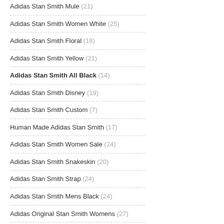Adidas Stan Smith Mule (21)
Adidas Stan Smith Women White (25)
Adidas Stan Smith Floral (18)
Adidas Stan Smith Yellow (21)
Adidas Stan Smith All Black (14)
Adidas Stan Smith Disney (19)
Adidas Stan Smith Custom (7)
Human Made Adidas Stan Smith (17)
Adidas Stan Smith Women Sale (24)
Adidas Stan Smith Snakeskin (20)
Adidas Stan Smith Strap (24)
Adidas Stan Smith Mens Black (24)
Adidas Original Stan Smith Womens (27)
Adidas Stan Smith Velcro Womens (21)